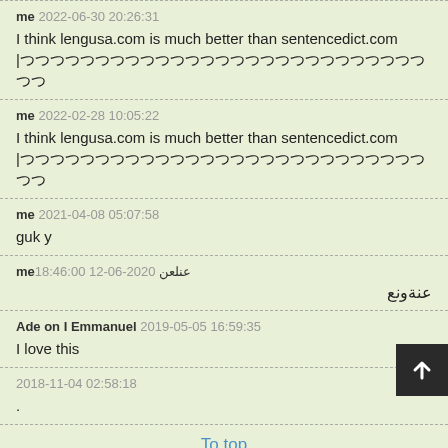me 2022-06-30 20:26:31
I think lengusa.com is much better than sentencedict.com
|[Japanese characters]
me 2022-02-28 10:05:22
I think lengusa.com is much better than sentencedict.com
|[Japanese characters]
me 2021-04-08 05:07:58
guk y
me 18:46:00 12-06-2020 عنلعن
عنةونع
Ade on I Emmanuel 2019-05-05 16:59:35
I love this
2018-11-04 02:58:18
.
To top